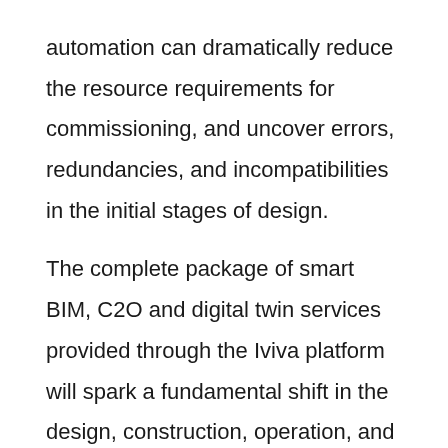automation can dramatically reduce the resource requirements for commissioning, and uncover errors, redundancies, and incompatibilities in the initial stages of design.
The complete package of smart BIM, C2O and digital twin services provided through the Iviva platform will spark a fundamental shift in the design, construction, operation, and upgrading process for smart buildings. Seamless access to the commissioning history of a building is compiled directly into the C2O process. When combined with real time data gathering and predictive modelling, a complete picture is established of the past, present, and future of a smart building. This represents